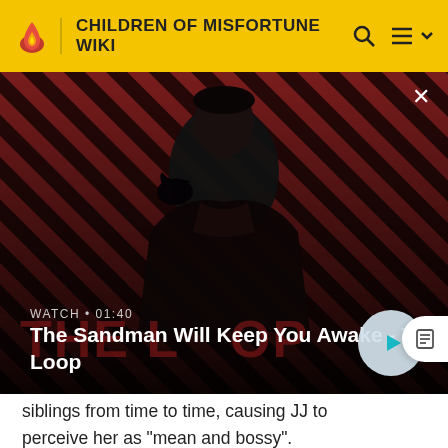CHILDREN OF MISFORTUNE WIKI
[Figure (screenshot): Video thumbnail showing a young man in dark clothing with a raven on his shoulder against a red and dark diagonal-striped background. Text overlay reads 'WATCH • 01:40' and 'The Sandman Will Keep You Awake - The Loop'. A circular play button is visible on the right.]
siblings from time to time, causing JJ to perceive her as "mean and bossy".
Although still young, Nico displays a great amount of courage. Despite her usually calm demeanor, Nico has shown an assertive side to her when standing up for